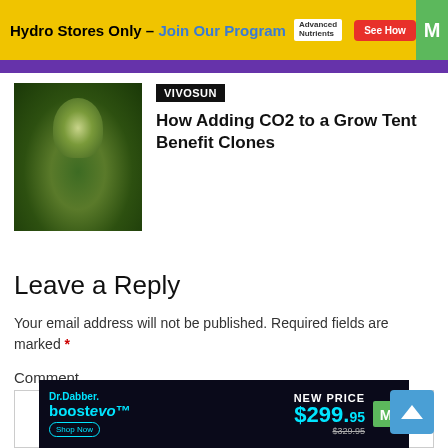[Figure (infographic): Yellow advertisement banner: 'Hydro Stores Only – Join Our Program' with Advanced Nutrients logo and red 'See How' button]
[Figure (photo): Close-up photo of a cannabis plant bud with green foliage]
VIVOSUN
How Adding CO2 to a Grow Tent Benefit Clones
Leave a Reply
Your email address will not be published. Required fields are marked *
Comment
[Figure (infographic): Dr. Dabber boost evo advertisement: 'NEW PRICE $299.95' with old price $329.95 shown, dark background with teal/cyan color scheme]